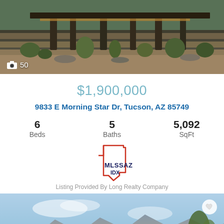[Figure (photo): Exterior photo of luxury desert home with landscaping, succulents, and architectural lighting. Camera icon with '50' photo count badge in lower left.]
$1,900,000
9833 E Morning Star Dr, Tucson, AZ 85749
6 Beds   5 Baths   5,092 SqFt
[Figure (logo): MLSSAZ IDX logo — Arizona state outline in orange/red with MLSSAZ IDX text in dark navy inside]
Listing Provided By Long Realty Company
[Figure (photo): Exterior photo of modern desert home with mountain views, blue sky, sparse desert trees, and white heart/favorite icon.]